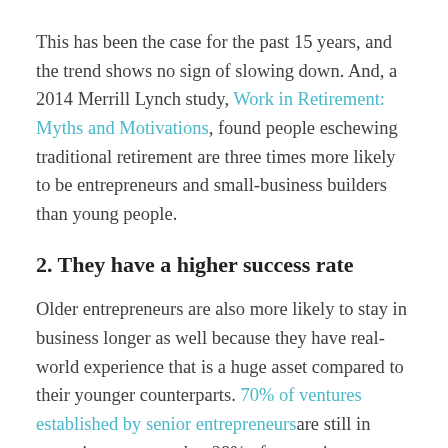This has been the case for the past 15 years, and the trend shows no sign of slowing down. And, a 2014 Merrill Lynch study, Work in Retirement: Myths and Motivations, found people eschewing traditional retirement are three times more likely to be entrepreneurs and small-business builders than young people.
2. They have a higher success rate
Older entrepreneurs are also more likely to stay in business longer as well because they have real-world experience that is a huge asset compared to their younger counterparts. 70% of ventures established by senior entrepreneurs are still in operation, compared to 28% of enterprises established by younger entrepreneurs. Even in